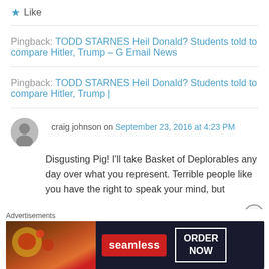★ Like
Pingback: TODD STARNES Heil Donald? Students told to compare Hitler, Trump – G Email News
Pingback: TODD STARNES Heil Donald? Students told to compare Hitler, Trump |
craig johnson on September 23, 2016 at 4:23 PM
Disgusting Pig! I'll take Basket of Deplorables any day over what you represent. Terrible people like you have the right to speak your mind, but
[Figure (screenshot): Advertisement banner for Seamless food ordering service showing pizza image, Seamless logo in red, and ORDER NOW button]